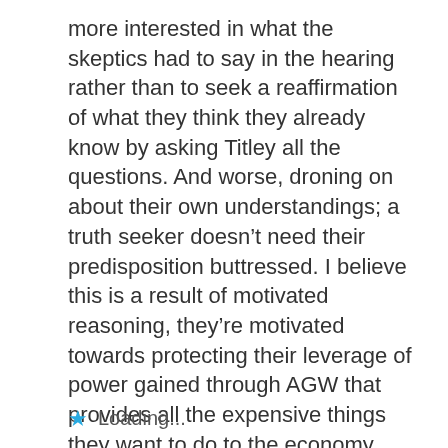more interested in what the skeptics had to say in the hearing rather than to seek a reaffirmation of what they think they already know by asking Titley all the questions. And worse, droning on about their own understandings; a truth seeker doesn’t need their predisposition buttressed. I believe this is a result of motivated reasoning, they’re motivated towards protecting their leverage of power gained through AGW that provides all the expensive things they want to do to the economy.
Loading...